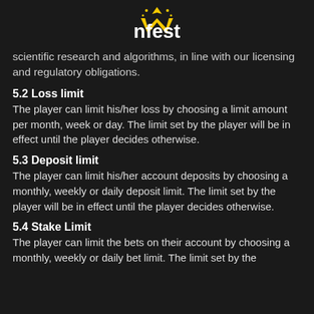Winfest
scientific research and algorithms, in line with our licensing and regulatory obligations.
5.2 Loss limit
The player can limit his/her loss by choosing a limit amount per month, week or day. The limit set by the player will be in effect until the player decides otherwise.
5.3 Deposit limit
The player can limit his/her account deposits by choosing a monthly, weekly or daily deposit limit. The limit set by the player will be in effect until the player decides otherwise.
5.4 Stake Limit
The player can limit the bets on their account by choosing a monthly, weekly or daily bet limit. The limit set by the